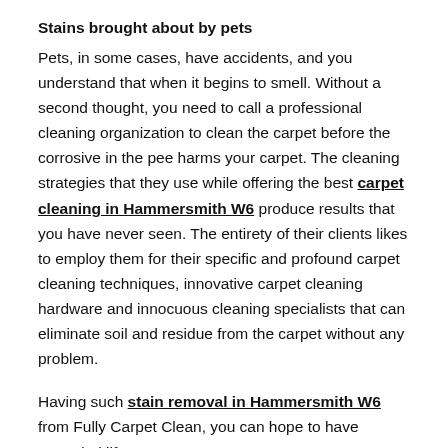Stains brought about by pets
Pets, in some cases, have accidents, and you understand that when it begins to smell. Without a second thought, you need to call a professional cleaning organization to clean the carpet before the corrosive in the pee harms your carpet. The cleaning strategies that they use while offering the best carpet cleaning in Hammersmith W6 produce results that you have never seen. The entirety of their clients likes to employ them for their specific and profound carpet cleaning techniques, innovative carpet cleaning hardware and innocuous cleaning specialists that can eliminate soil and residue from the carpet without any problem.
Having such stain removal in Hammersmith W6 from Fully Carpet Clean, you can hope to have extended life